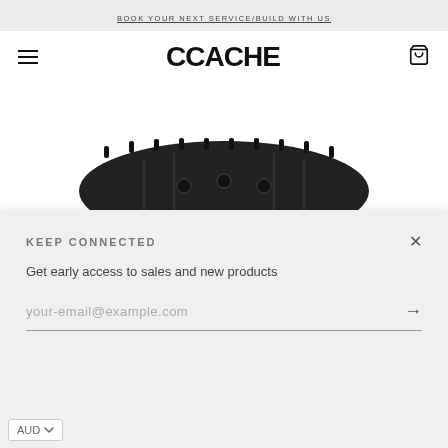BOOK YOUR NEXT SERVICE/BUILD WITH US
CCACHE
HOME › DEITY DEFTRAP COMPOSITE FLAT PEDALS
[Figure (photo): Deity Deftrap composite flat bicycle pedals, viewed from above, black color, shown partially]
KEEP CONNECTED
Get early access to sales and new products
your-email@example.com
AUD ▼